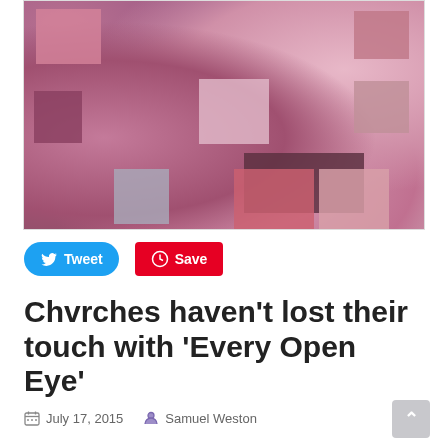[Figure (photo): Artistic photo collage of pink and rose flowers overlaid with a mosaic of colored squares in various shades of pink, mauve, grey, and dark tones.]
Tweet
Save
Chvrches haven’t lost their touch with ‘Every Open Eye’
July 17, 2015   Samuel Weston